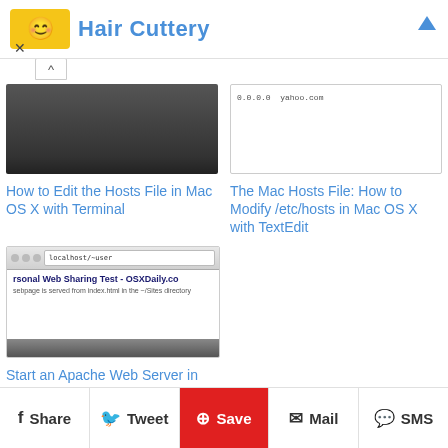Hair Cuttery
[Figure (screenshot): Dark screenshot thumbnail for Mac OS X Terminal hosts file article]
How to Edit the Hosts File in Mac OS X with Terminal
[Figure (screenshot): Screenshot of hosts file with 0.0.0.0 and yahoo.com entries]
The Mac Hosts File: How to Modify /etc/hosts in Mac OS X with TextEdit
[Figure (screenshot): Screenshot of Personal Web Sharing Test - OSXDaily.co browser page]
Start an Apache Web Server in Mac OS X El Capitan, Mavericks, & Mountain Lion
Share  Tweet  Save  Mail  SMS